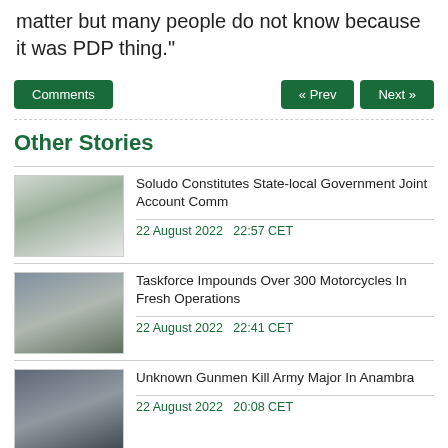matter but many people do not know because it was PDP thing.”
Comments | « Prev | Next »
Other Stories
Soludo Constitutes State-local Government Joint Account Comm
22 August 2022  22:57 CET
Taskforce Impounds Over 300 Motorcycles In Fresh Operations
22 August 2022  22:41 CET
Unknown Gunmen Kill Army Major In Anambra
22 August 2022  20:08 CET